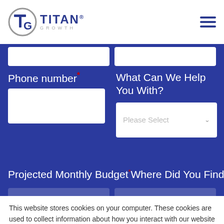[Figure (logo): Titan Growth logo with circular T/G icon and text TITAN GROWTH]
Phone number*
What Can We Help You With?
Please Select
Projected Monthly Budget* Where Did You Find Us? *
This website stores cookies on your computer. These cookies are used to collect information about how you interact with our website and allow us to remember you. We use this information in order to improve and customize your browsing experience and for analytics and metrics about our visitors both on this website and other media. To find out more about the cookies we use, see our Privacy Policy
Accept